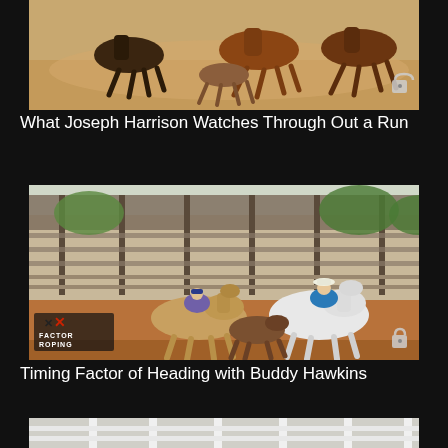[Figure (photo): Horses running with a calf in a dusty arena, rodeo roping action shot from above. Lock icon overlay in bottom right.]
What Joseph Harrison Watches Through Out a Run
[Figure (photo): Two riders on horseback in a roping arena working cattle, with X Factor Roping logo in bottom left and lock icon in bottom right.]
Timing Factor of Heading with Buddy Hawkins
[Figure (photo): Partial view of a third video thumbnail at the bottom of the page, showing an indoor arena with white gates.]